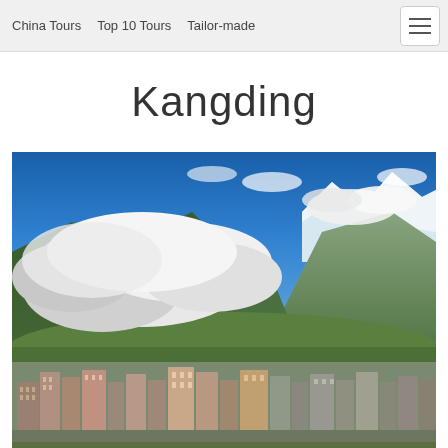China Tours   Top 10 Tours   Tailor-made
Kangding
[Figure (photo): Panoramic landscape photo of Kangding city nestled in a mountain valley. The foreground shows multi-story urban buildings in warm tones. The middle ground features steep green mountain slopes. The background shows dramatic snow-capped peaks partially obscured by large white and grey clouds against a deep blue sky.]